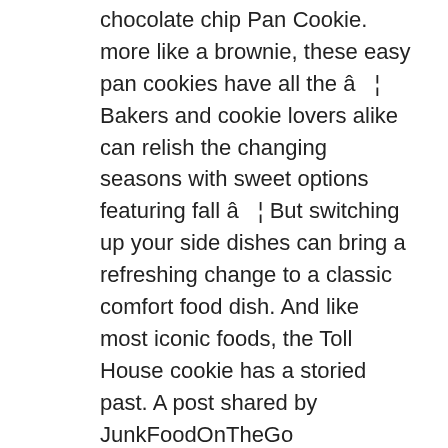chocolate chip Pan Cookie. more like a brownie, these easy pan cookies have all the â ¦ Bakers and cookie lovers alike can relish the changing seasons with sweet options featuring fall â ¦ But switching up your side dishes can bring a refreshing change to a classic comfort food dish. And like most iconic foods, the Toll House cookie has a storied past. A post shared by JunkFoodOnTheGo (@junkfoodonthego). Gradually beat in flour mixture. And they just released a new Hocus Pocus-themed cookie dough, too. Add eggs, one at a time, beating well after each addition. As if thereâ    s anything more fall than dipping â ¦ © Copyright 2020, 20 Things to Cook This Month That Have Nothing to Do With Thanksgiving, 15 Vegan Muffin Recipes for Easy Breakfasts, 15 Comfort Food Dinners That Start With Creamy Alfredo Sauce, 2-Ingredient Snacks That Are Too Easy Not to Make, Use Your Stale Bread in These